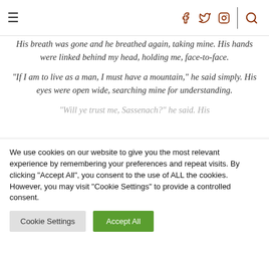Navigation bar with hamburger menu, social icons (Facebook, Twitter, Instagram), divider, and search icon
His breath was gone and he breathed again, taking mine. His hands were linked behind my head, holding me, face-to-face.

“If I am to live as a man, I must have a mountain,” he said simply. His eyes were open wide, searching mine for understanding.

“Will ye trust me, Sassenach?” he said. His
We use cookies on our website to give you the most relevant experience by remembering your preferences and repeat visits. By clicking “Accept All”, you consent to the use of ALL the cookies. However, you may visit "Cookie Settings" to provide a controlled consent.